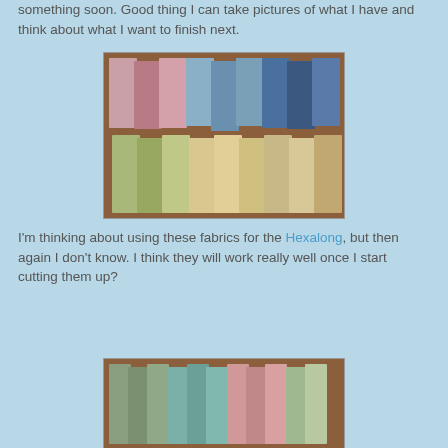something soon.  Good thing I can take pictures of what I have and think about what I want to finish next.
[Figure (photo): Stacks of fabric fat quarters arranged on a wooden floor, showing pinks, blues, florals, yellows, and neutral tones in two rows]
I'm thinking about using these fabrics for the Hexalong, but then again I don't know.  I think they will work really well once I start cutting them up?
[Figure (photo): Stacks of fabric fat quarters with green, blue, and floral patterns arranged on a wooden floor]